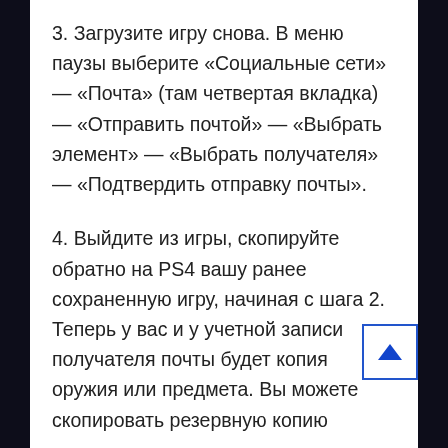3. Загрузите игру снова. В меню паузы выберите «Социальные сети» — «Почта» (там четвертая вкладка) — «Отправить почтой» — «Выбрать элемент» — «Выбрать получателя» — «Подтвердить отправку почты».
4. Выйдите из игры, скопируйте обратно на PS4 вашу ранее сохраненную игру, начиная с шага 2. Теперь у вас и у учетной записи получателя почты будет копия оружия или предмета. Вы можете скопировать резервную копию